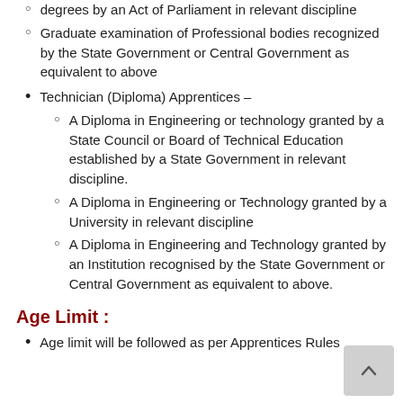degrees by an Act of Parliament in relevant discipline
Graduate examination of Professional bodies recognized by the State Government or Central Government as equivalent to above
Technician (Diploma) Apprentices –
A Diploma in Engineering or technology granted by a State Council or Board of Technical Education established by a State Government in relevant discipline.
A Diploma in Engineering or Technology granted by a University in relevant discipline
A Diploma in Engineering and Technology granted by an Institution recognised by the State Government or Central Government as equivalent to above.
Age Limit  :
Age limit will be followed as per Apprentices Rules